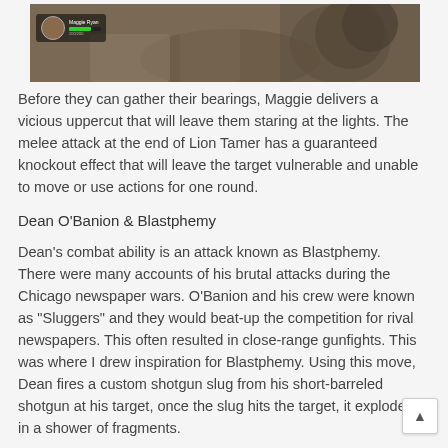[Figure (screenshot): In-game screenshot showing a character (Maggie Ryan) on the ground with HUD overlay showing player name and health bar in green]
Before they can gather their bearings, Maggie delivers a vicious uppercut that will leave them staring at the lights. The melee attack at the end of Lion Tamer has a guaranteed knockout effect that will leave the target vulnerable and unable to move or use actions for one round.
Dean O'Banion & Blastphemy
Dean's combat ability is an attack known as Blastphemy. There were many accounts of his brutal attacks during the Chicago newspaper wars. O'Banion and his crew were known as "Sluggers" and they would beat-up the competition for rival newspapers. This often resulted in close-range gunfights. This was where I drew inspiration for Blastphemy. Using this move, Dean fires a custom shotgun slug from his short-barreled shotgun at his target, once the slug hits the target, it explodes in a shower of fragments.